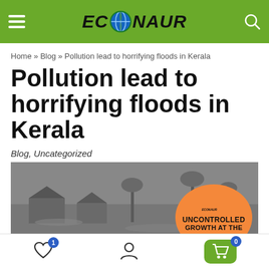ECONAUR
Home » Blog » Pollution lead to horrifying floods in Kerala
Pollution lead to horrifying floods in Kerala
Blog, Uncategorized
[Figure (photo): Flood scene in Kerala with submerged houses and palm trees in black and white, overlaid with an orange Econaur circle logo with text UNCONTROLLED GROWTH AT THE...]
Navigation icons: wishlist (1), account, cart (0)